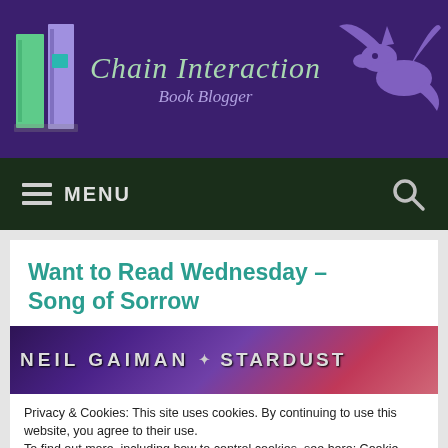Chain Interaction — Book Blogger
Want to Read Wednesday – Song of Sorrow
[Figure (photo): Book spine image showing 'Neil Gaiman Stardust' text on dark purple/pink background]
Privacy & Cookies: This site uses cookies. By continuing to use this website, you agree to their use.
To find out more, including how to control cookies, see here: Cookie Policy
[Figure (photo): Bottom strip showing book spine with 'Leigh Bardugo' and other author names on purple background]